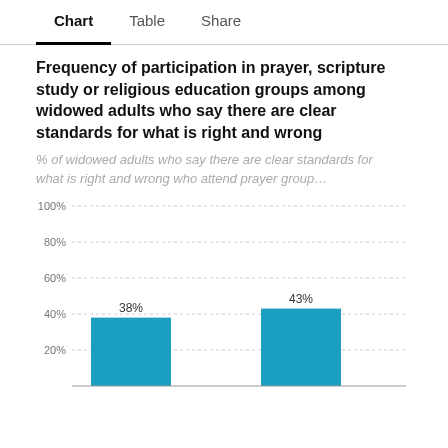Chart  Table  Share
Frequency of participation in prayer, scripture study or religious education groups among widowed adults who say there are clear standards for what is right and wrong
% of widowed adults who say there are clear standards for what is right and wrong who attend prayer group…
[Figure (bar-chart): Frequency of participation in prayer, scripture study or religious education groups among widowed adults who say there are clear standards for what is right and wrong]